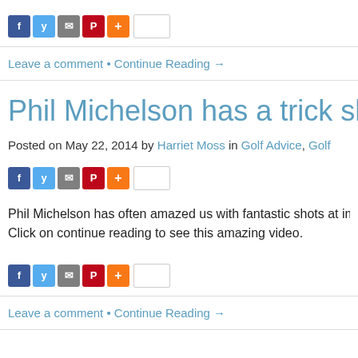[Figure (other): Social share buttons: Facebook, Twitter, Email, Pinterest, Plus, and a share count box]
Leave a comment • Continue Reading →
Phil Michelson has a trick sh…
Posted on May 22, 2014 by Harriet Moss in Golf Advice, Golf…
[Figure (other): Social share buttons: Facebook, Twitter, Email, Pinterest, Plus, and a share count box]
Phil Michelson has often amazed us with fantastic shots at im… Click on continue reading to see this amazing video.
[Figure (other): Social share buttons: Facebook, Twitter, Email, Pinterest, Plus, and a share count box]
Leave a comment • Continue Reading →